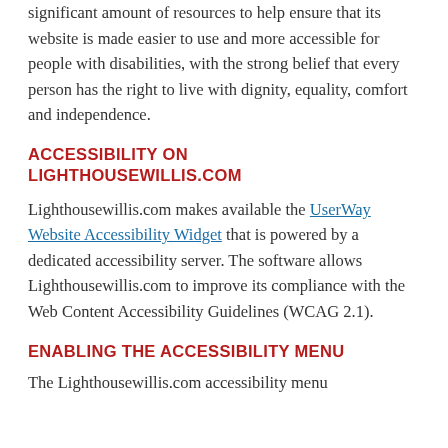significant amount of resources to help ensure that its website is made easier to use and more accessible for people with disabilities, with the strong belief that every person has the right to live with dignity, equality, comfort and independence.
ACCESSIBILITY ON LIGHTHOUSEWILLIS.COM
Lighthousewillis.com makes available the UserWay Website Accessibility Widget that is powered by a dedicated accessibility server. The software allows Lighthousewillis.com to improve its compliance with the Web Content Accessibility Guidelines (WCAG 2.1).
ENABLING THE ACCESSIBILITY MENU
The Lighthousewillis.com accessibility menu